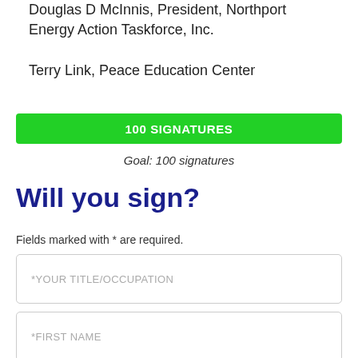Douglas D McInnis, President, Northport Energy Action Taskforce, Inc.

Terry Link, Peace Education Center
[Figure (infographic): Green progress bar showing 100 SIGNATURES reached]
Goal: 100 signatures
Will you sign?
Fields marked with * are required.
*YOUR TITLE/OCCUPATION
*FIRST NAME
*LAST NAME